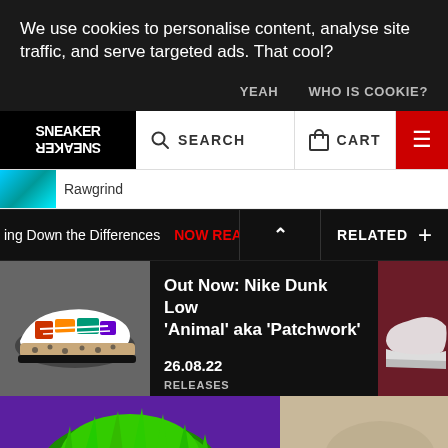We use cookies to personalise content, analyse site traffic, and serve targeted ads. That cool?
YEAH
WHO IS COOKIE?
[Figure (logo): Sneaker Freaker logo in black and white with mirrored text]
SEARCH
CART
Rawgrind
ing Down the Differences
NOW READ
RELATED
Out Now: Nike Dunk Low 'Animal' aka 'Patchwork'
26.08.22
RELEASES
[Figure (photo): Nike Dunk Low Animal Patchwork sneaker with colorful patchwork upper and leopard print]
[Figure (photo): Dark maroon/burgundy Nike sneaker on right side partially visible]
[Figure (photo): Green furry object on purple background]
[Figure (photo): Neutral beige/tan image on right side]